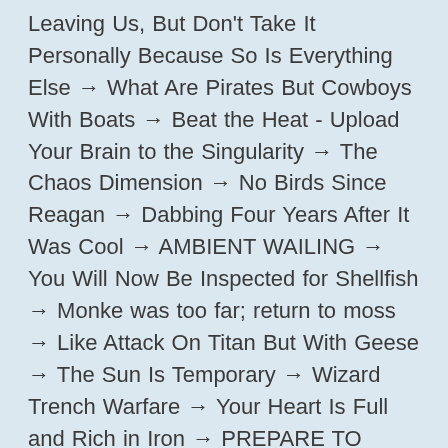Leaving Us, But Don't Take It Personally Because So Is Everything Else → What Are Pirates But Cowboys With Boats → Beat the Heat - Upload Your Brain to the Singularity → The Chaos Dimension → No Birds Since Reagan → Dabbing Four Years After It Was Cool → AMBIENT WAILING → You Will Now Be Inspected for Shellfish → Monke was too far; return to moss → Like Attack On Titan But With Geese → The Sun Is Temporary → Wizard Trench Warfare → Your Heart Is Full and Rich in Iron → PREPARE TO YIELD → Mundane Gays → Gandalf's Eye Bags (of Holding) → Tis a sad day for the men of Ireland when they need a bird to tell them a man is dead → What a Bop → Cities Skyrim → All Hail Aint Andre → Skilled in Curses → The Ocean of Curses → A Spider Has Recently Died Hands → Professional H*ckposting → More Kids Being Named 'Microsoft' These Days → 🟥 → There Is